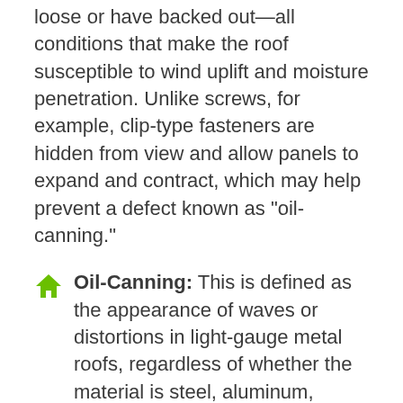loose or have backed out—all conditions that make the roof susceptible to wind uplift and moisture penetration. Unlike screws, for example, clip-type fasteners are hidden from view and allow panels to expand and contract, which may help prevent a defect known as "oil-canning."
Oil-Canning: This is defined as the appearance of waves or distortions in light-gauge metal roofs, regardless of whether the material is steel, aluminum, copper, or zinc. The severity of how the waviness is perceived can be influenced by a number of factors, such as roof color and from which angle the roof is viewed. While often a defect associated with stressors from the production process, rough handling, or improper storage, installation mistakes may also be at fault, such as panel misalignment, overdriving fasteners, insufficient panel spacing that does not